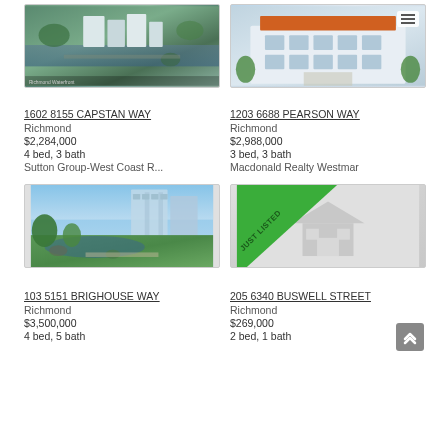[Figure (photo): Aerial view of waterfront residential buildings]
[Figure (photo): Modern building exterior with orange roof element]
1602 8155 CAPSTAN WAY
Richmond
$2,284,000
4 bed, 3 bath
Sutton Group-West Coast R...
1203 6688 PEARSON WAY
Richmond
$2,988,000
3 bed, 3 bath
Macdonald Realty Westmar
[Figure (photo): Modern glass building with Japanese garden and water feature]
[Figure (photo): Placeholder house image with JUST LISTED ribbon]
103 5151 BRIGHOUSE WAY
Richmond
$3,500,000
4 bed, 5 bath
205 6340 BUSWELL STREET
Richmond
$269,000
2 bed, 1 bath